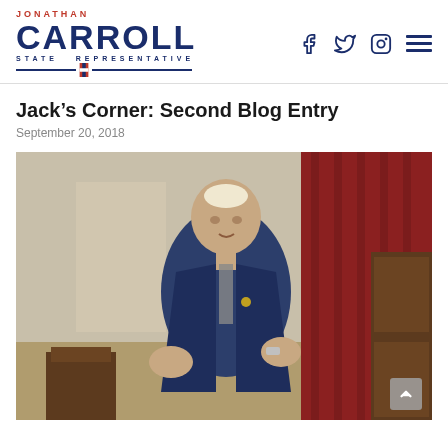Jonathan Carroll State Representative — Navigation header with social icons (Facebook, Twitter, Instagram) and hamburger menu
Jack's Corner: Second Blog Entry
September 20, 2018
[Figure (photo): A man in a dark suit and yarmulke speaking at a podium inside a formal hall with red curtains and wood paneling, gesturing with his hands]